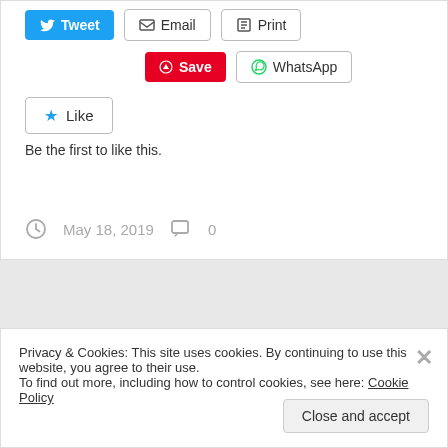Tweet | Email | Print
Save | WhatsApp
Like
Be the first to like this.
May 18, 2019   0
Privacy & Cookies: This site uses cookies. By continuing to use this website, you agree to their use.
To find out more, including how to control cookies, see here: Cookie Policy
Close and accept